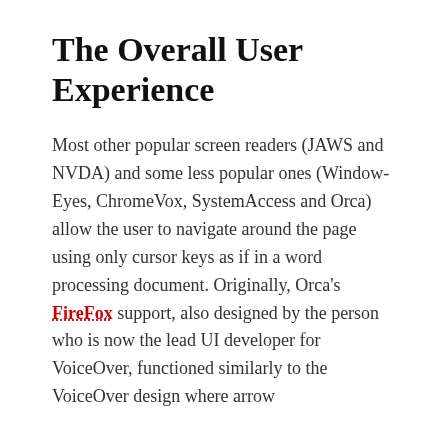The Overall User Experience
Most other popular screen readers (JAWS and NVDA) and some less popular ones (Window-Eyes, ChromeVox, SystemAccess and Orca) allow the user to navigate around the page using only cursor keys as if in a word processing document. Originally, Orca's FireFox support, also designed by the person who is now the lead UI developer for VoiceOver, functioned similarly to the VoiceOver design where arrow